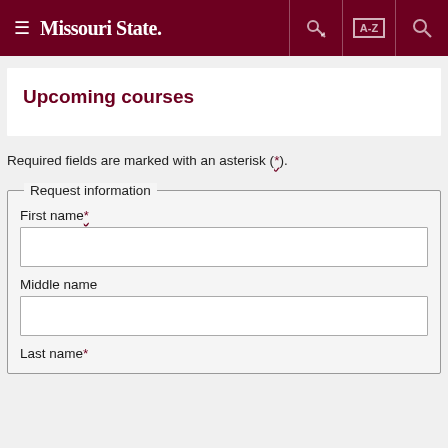≡ Missouri State. [key icon] [A-Z] [search icon]
Upcoming courses
Required fields are marked with an asterisk (*).
Request information
First name*
Middle name
Last name*